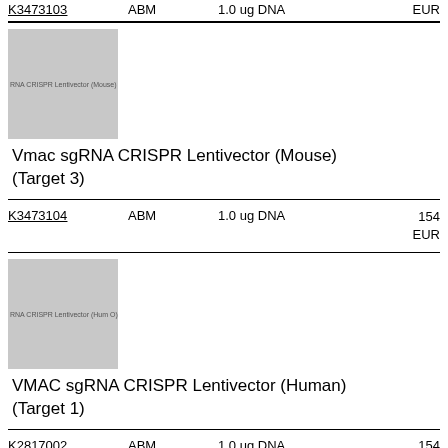| ID | Brand | Size | Price |
| --- | --- | --- | --- |
| K3473103 | ABM | 1.0 ug DNA | EUR |
| K3473104 | ABM | 1.0 ug DNA | 154 EUR |
| K2817002 | ABM | 1.0 ug DNA | 154 |
[Figure (photo): Product image placeholder for Vmac sgRNA CRISPR Lentivector (Mouse) (Target 3)]
Vmac sgRNA CRISPR Lentivector (Mouse) (Target 3)
[Figure (photo): Product image placeholder for VMAC sgRNA CRISPR Lentivector (Human) (Target 1)]
VMAC sgRNA CRISPR Lentivector (Human) (Target 1)